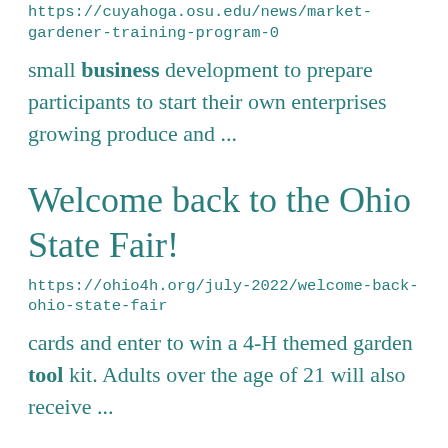https://cuyahoga.osu.edu/news/market-gardener-training-program-0
small business development to prepare participants to start their own enterprises growing produce and ...
Welcome back to the Ohio State Fair!
https://ohio4h.org/july-2022/welcome-back-ohio-state-fair
cards and enter to win a 4-H themed garden tool kit. Adults over the age of 21 will also receive ...
Ohio State FFA Officers Luncheon